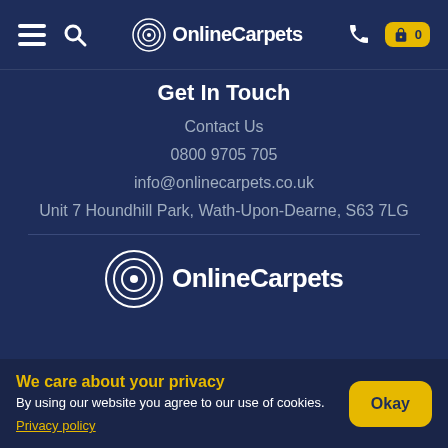OnlineCarpets — navigation bar with hamburger menu, search icon, logo, phone icon, cart (0)
Get In Touch
Contact Us
0800 9705 705
info@onlinecarpets.co.uk
Unit 7 Houndhill Park, Wath-Upon-Dearne, S63 7LG
[Figure (logo): OnlineCarpets logo with concentric circle C icon and white text on dark navy background]
We care about your privacy
By using our website you agree to our use of cookies.
Privacy policy
Okay